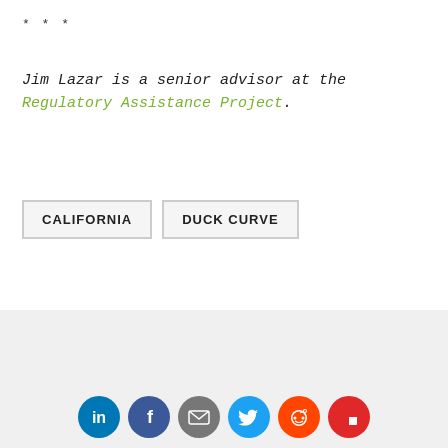***
Jim Lazar is a senior advisor at the Regulatory Assistance Project.
CALIFORNIA
DUCK CURVE
[Figure (photo): Industrial pipes and conduits, metallic and colored tubes running in parallel.]
[Figure (infographic): Social media sharing icons: LinkedIn, Facebook, Email, Twitter, Reddit, Flipboard.]